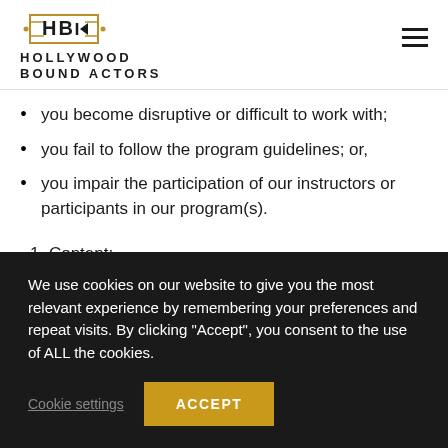HOLLYWOOD BOUND ACTORS
you become disruptive or difficult to work with;
you fail to follow the program guidelines; or,
you impair the participation of our instructors or participants in our program(s).
1. Content:
We use cookies on our website to give you the most relevant experience by remembering your preferences and repeat visits. By clicking “Accept”, you consent to the use of ALL the cookies.